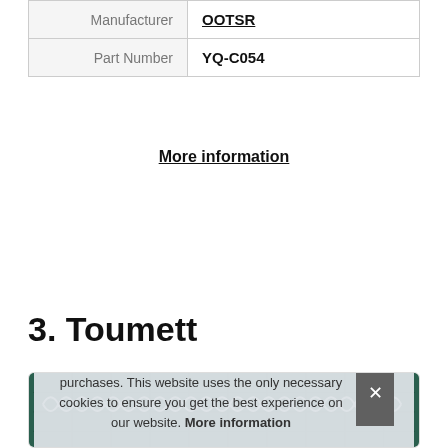|  |  |
| --- | --- |
| Manufacturer | OOTSR |
| Part Number | YQ-C054 |
More information
3. Toumett
[Figure (photo): A decorative lace border / tatting piece laid on a green cutting mat, with a cookie consent overlay reading: As an Amazon Associate I earn from qualifying purchases. This website uses the only necessary cookies to ensure you get the best experience on our website. More information]